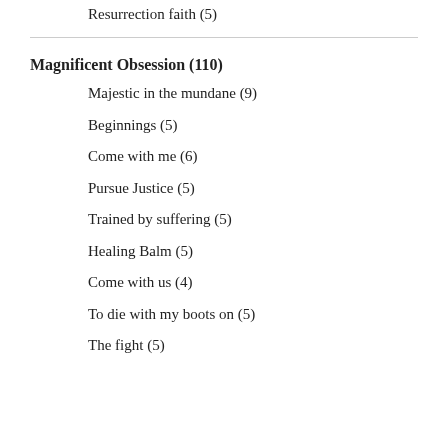Resurrection faith (5)
Magnificent Obsession (110)
Majestic in the mundane (9)
Beginnings (5)
Come with me (6)
Pursue Justice (5)
Trained by suffering (5)
Healing Balm (5)
Come with us (4)
To die with my boots on (5)
The fight (5)